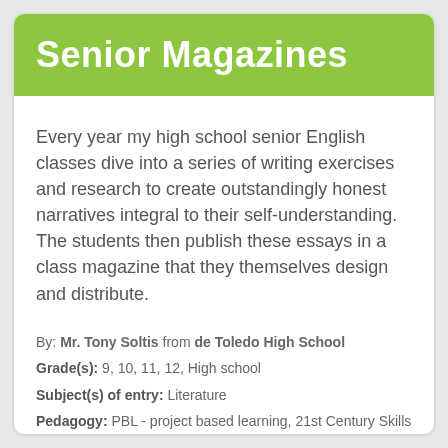Senior Magazines
Every year my high school senior English classes dive into a series of writing exercises and research to create outstandingly honest narratives integral to their self-understanding. The students then publish these essays in a class magazine that they themselves design and distribute.
By: Mr. Tony Soltis from de Toledo High School
Grade(s): 9, 10, 11, 12, High school
Subject(s) of entry: Literature
Pedagogy: PBL - project based learning, 21st Century Skills
View complete entry »